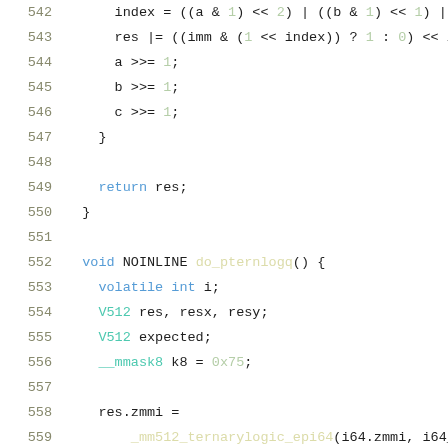542    index = ((a & 1) << 2) | ((b & 1) << 1) | (
543    res |= ((imm & (1 << index)) ? 1 : 0) << i;
544    a >>= 1;
545    b >>= 1;
546    c >>= 1;
547  }
548
549    return res;
550  }
551
552  void NOINLINE do_pternlogq() {
553    volatile int i;
554    V512 res, resx, resy;
555    V512 expected;
556    __mmask8 k8 = 0x75;
557
558    res.zmmi =
559        _mm512_ternarylogic_epi64(i64.zmmi, i64_s
560    for (i = 0; i < 16; i++) {
561      expected.s32[i] =
562          emulate_ternarylogicd(i64.s32[i], i64_s
563    }